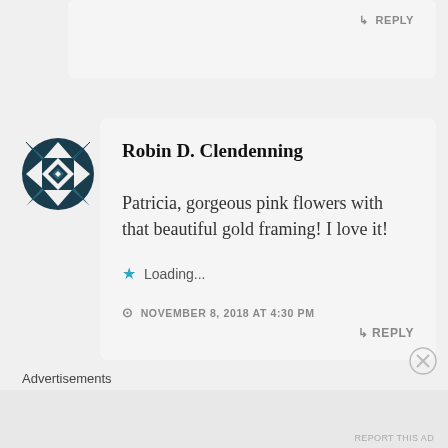↳ REPLY
[Figure (illustration): Circular avatar with geometric quilt-pattern design in dark teal/navy and white, featuring a diamond star pattern]
Robin D. Clendenning
Patricia, gorgeous pink flowers with that beautiful gold framing! I love it!
★ Loading...
NOVEMBER 8, 2018 AT 4:30 PM
↳ REPLY
Advertisements
REPORT THIS AD